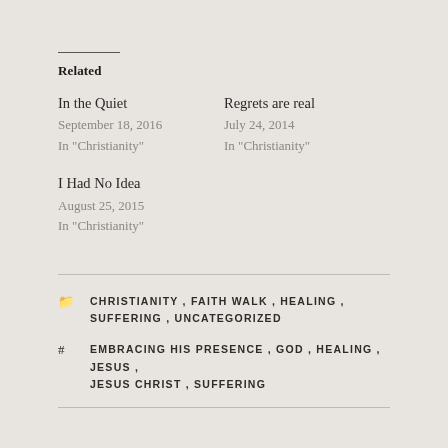Related
In the Quiet
September 18, 2016
In "Christianity"
Regrets are real
July 24, 2014
In "Christianity"
I Had No Idea
August 25, 2015
In "Christianity"
CHRISTIANITY, FAITH WALK, HEALING, SUFFERING, UNCATEGORIZED
EMBRACING HIS PRESENCE, GOD, HEALING, JESUS, JESUS CHRIST, SUFFERING